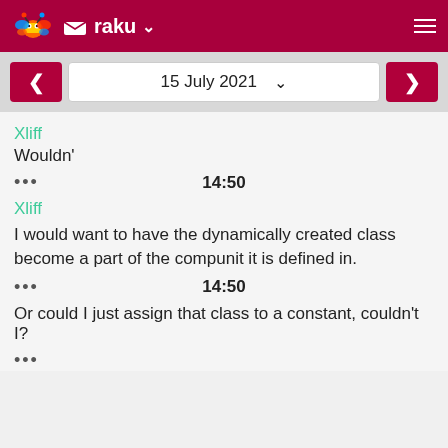raku
15 July 2021
Xliff
Wouldn'
••• 14:50
Xliff
I would want to have the dynamically created class become a part of the compunit it is defined in.
••• 14:50
Or could I just assign that class to a constant, couldn't I?
•••